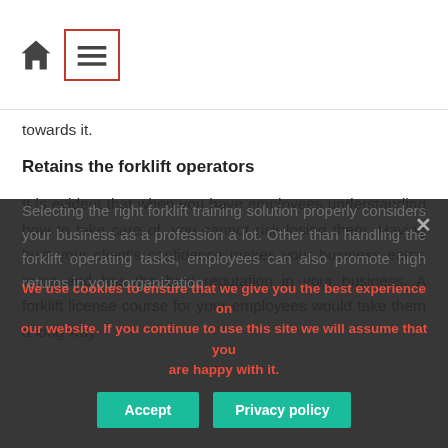[Home icon] [Hamburger menu icon]
towards it.
Retains the forklift operators
It is evident that when you have employees understanding how to take care of, you cannot risk losing them. Having built your client's confidence makes your business earns more and has the best reputation in your business. A forklift license course for your employees would take them a long way.
Selecting the right forklift training solution properly considers your business as a profession a lot. Other than handling the forklift operating tasks, employees can also promote high returns in your organization.
We use cookies to ensure that we give you the best experience on our website. If you continue to use this site we will assume that you are happy with it.